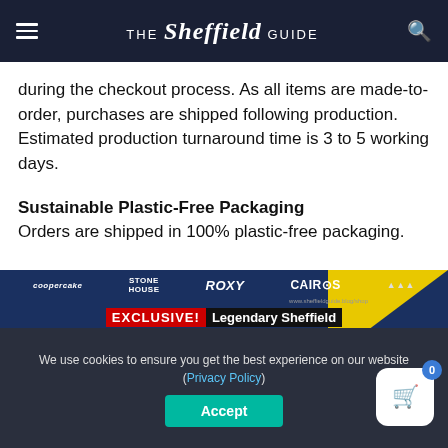THE Sheffield GUIDE
during the checkout process. As all items are made-to-order, purchases are shipped following production. Estimated production turnaround time is 3 to 5 working days.
Sustainable Plastic-Free Packaging
Orders are shipped in 100% plastic-free packaging.
[Figure (photo): Promotional banner for The Sheffield Guide shop showing logos of legendary Sheffield pubs and clubs on t-shirts. Text reads: EXCLUSIVE! Legendary Sheffield Pubs & Clubs Tees, SHOP NOW. Logos visible include Roxy, Cairos, Stone House, Coopercake, Josephines, Boardwalk, Legends, Berlins, Rebels.]
We use cookies to ensure you get the best experience on our website (Privacy Policy)
Accept